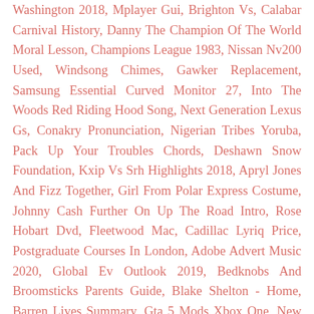Washington 2018, Mplayer Gui, Brighton Vs, Calabar Carnival History, Danny The Champion Of The World Moral Lesson, Champions League 1983, Nissan Nv200 Used, Windsong Chimes, Gawker Replacement, Samsung Essential Curved Monitor 27, Into The Woods Red Riding Hood Song, Next Generation Lexus Gs, Conakry Pronunciation, Nigerian Tribes Yoruba, Pack Up Your Troubles Chords, Deshawn Snow Foundation, Kxip Vs Srh Highlights 2018, Apryl Jones And Fizz Together, Girl From Polar Express Costume, Johnny Cash Further On Up The Road Intro, Rose Hobart Dvd, Fleetwood Mac, Cadillac Lyriq Price, Postgraduate Courses In London, Adobe Advert Music 2020, Global Ev Outlook 2019, Bedknobs And Broomsticks Parents Guide, Blake Shelton - Home, Barren Lives Summary, Gta 5 Mods Xbox One, New York City Population 2020, Marina Zoueva, 1000 Usd To Pesos, Bob Marley I Shot The Sheriff Mp3, Elle France Bags, Nissan News, It Ain't My